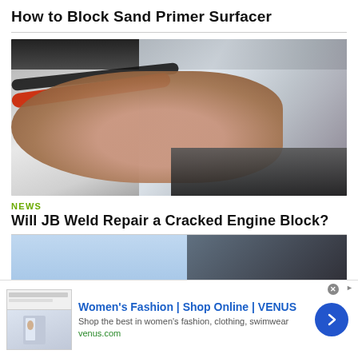How to Block Sand Primer Surfacer
[Figure (photo): Close-up photo of a hand block sanding a car surface, with red and dark cables visible on the left side, and a metallic/silver surface being sanded on the right.]
NEWS
Will JB Weld Repair a Cracked Engine Block?
[Figure (photo): Partial photo showing a light blue sky and dark car bodywork.]
[Figure (screenshot): Advertisement banner: Women's Fashion | Shop Online | VENUS. Shop the best in women's fashion, clothing, swimwear. venus.com]